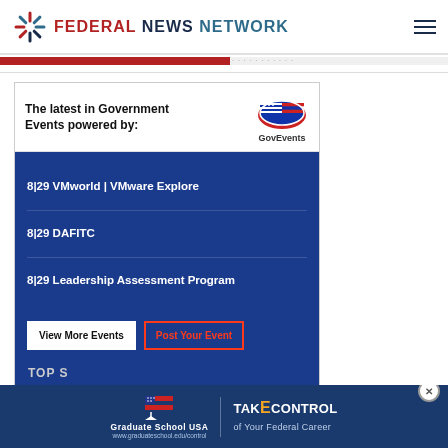FEDERAL NEWS NETWORK
[Figure (infographic): Government Events advertisement box powered by GovEvents, listing: 8|29 VMworld | VMware Explore, 8|29 DAFITC, 8|29 Leadership Assessment Program, with View More Events and Post Your Event buttons]
[Figure (infographic): Graduate School USA - Take Control of Your Federal Career advertisement banner at bottom]